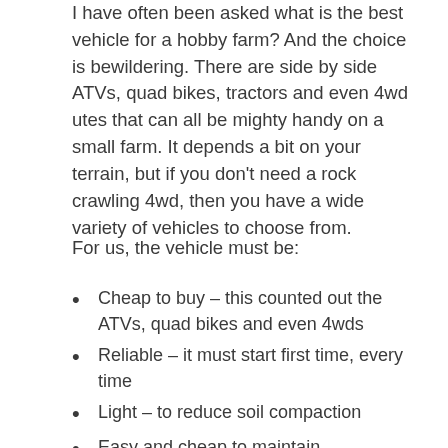I have often been asked what is the best vehicle for a hobby farm?  And the choice is bewildering.  There are side by side ATVs, quad bikes, tractors and even 4wd utes that can all be mighty handy on a small farm.  It depends a bit on your terrain, but if you don't need a rock crawling 4wd, then you have a wide variety of vehicles to choose from.
For us, the vehicle must be:
Cheap to buy – this counted out the ATVs, quad bikes and even 4wds
Reliable – it must start first time, every time
Light – to reduce soil compaction
Easy and cheap to maintain
Practical – it must be able to carry a load
Safe – which counted out quad bikes due to their